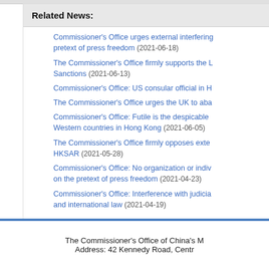Related News:
Commissioner's Office urges external interfering … pretext of press freedom (2021-06-18)
The Commissioner's Office firmly supports the L… Sanctions (2021-06-13)
Commissioner's Office: US consular official in H…
The Commissioner's Office urges the UK to aba…
Commissioner's Office: Futile is the despicable … Western countries in Hong Kong (2021-06-05)
The Commissioner's Office firmly opposes exte… HKSAR (2021-05-28)
Commissioner's Office: No organization or indiv… on the pretext of press freedom (2021-04-23)
Commissioner's Office: Interference with judicia… and international law (2021-04-19)
The Commissioner's Office of China's … Address: 42 Kennedy Road, Centr…